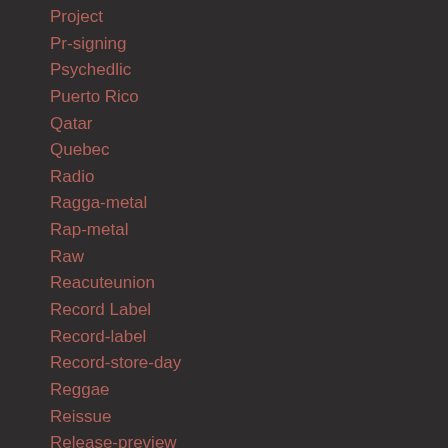Project
Pr-signing
Psychedlic
Puerto Rico
Qatar
Quebec
Radio
Ragga-metal
Rap-metal
Raw
Reacuteunion
Record Label
Record-label
Record-store-day
Reggae
Reissue
Release-preview
Religion
Remix
Reunion